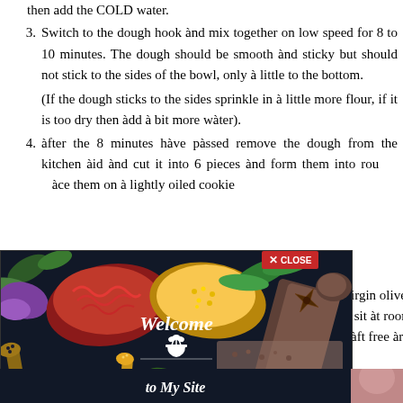then add the COLD water.
3. Switch to the dough hook and mix together on low speed for 8 to 10 minutes. The dough should be smooth and sticky but should not stick to the sides of the bowl, only a little to the bottom. (If the dough sticks to the sides sprinkle in a little more flour, if it is too dry then add a bit more water).
4. after the 8 minutes have passed remove the dough from the kitchen aid and cut it into 6 pieces and form them into rounds, place them on a lightly oiled cookie ... virgin olive oil. ... sit at room ... aft free area. (
[Figure (photo): Advertisement overlay showing spices in wooden spoons on dark background with 'Welcome to My Site' text, partially covering the recipe instructions. A red CLOSE button is visible.]
entina.com
[Figure (logo): mgid logo with play button icon]